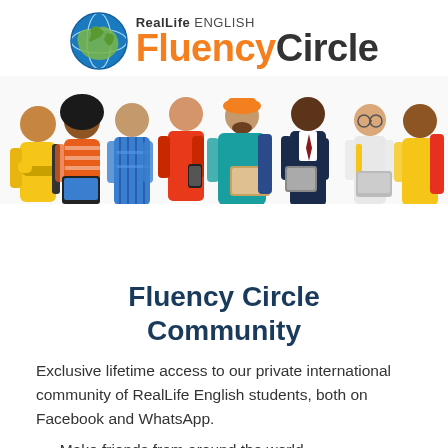[Figure (logo): RealLife English Fluency Circle logo with globe icon]
[Figure (illustration): Group of diverse illustrated people standing together, some holding laptops and phones]
Fluency Circle Community
Exclusive lifetime access to our private international community of RealLife English students, both on Facebook and WhatsApp.
Make friends from around the world
Ask/ answer questions about the